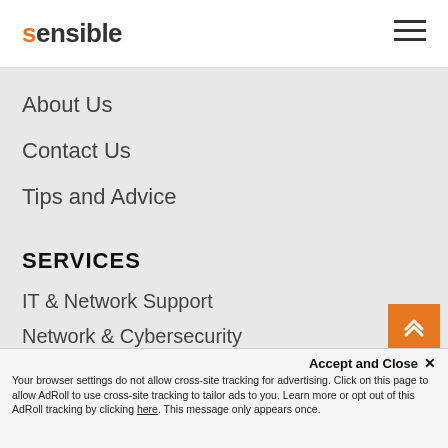sensible
About Us
Contact Us
Tips and Advice
SERVICES
IT & Network Support
Network & Cybersecurity
Managed Cloud Computing
Business Phones (VoIP)
Managed Print Services
Accept and Close ×
Your browser settings do not allow cross-site tracking for advertising. Click on this page to allow AdRoll to use cross-site tracking to tailor ads to you. Learn more or opt out of this AdRoll tracking by clicking here. This message only appears once.